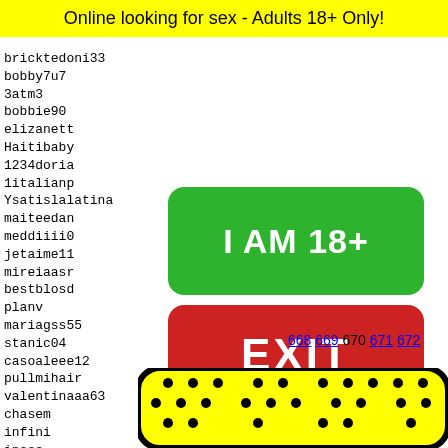Online looking for sex - Adults 18+ Only!
bricktedoni33
bobby7u7
3atm3
bobbie90
elizanett
Haitibaby
1234doria
1italianp
Ysatislalatina
maiteedan
meddiiii0
jetaime11
mireiaasr
bestblosd
planv
mariagss55
stanic04
casoaleee12
pullmihair
valentinaaa63
chasem
infini
ineee
madmak
prolin
sophis
[Figure (other): Green button with text I AM 18+]
[Figure (other): Red button with text EXIT]
668 669 670 671 672
[Figure (illustration): Yellow padel/paddle graphic with black dots pattern and a frog/mascot face at bottom]